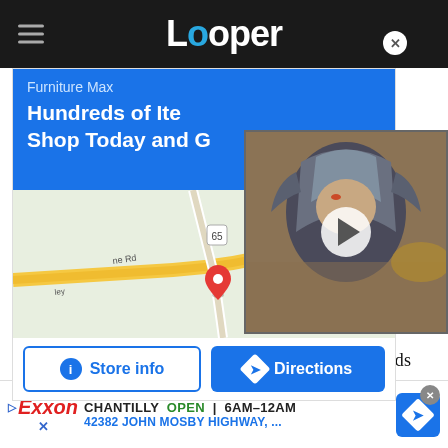Looper
[Figure (screenshot): Furniture Max store ad with blue header showing 'Furniture Max' and 'Hundreds of Items Shop Today and G...', a Google Maps view showing McNair area, and Store info / Directions buttons. A video overlay showing an armored character is in the top-right with a play button.]
One commercial has Perez and Paul looking at clouds and saying what they look like. All of Perez's
[Figure (screenshot): Exxon advertisement banner: CHANTILLY OPEN 6AM-12AM, 42382 JOHN MOSBY HIGHWAY, ... with Exxon logo and directions badge]